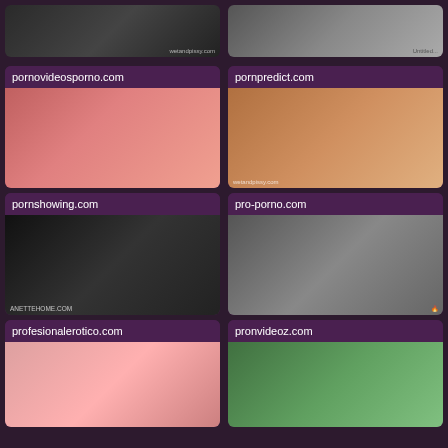[Figure (photo): Partial cropped image top-left, dark background]
[Figure (photo): Partial cropped image top-right, light background]
pornovideosporno.com
[Figure (photo): Woman in orange top on bed]
pornpredict.com
[Figure (photo): Woman posing, wetandpissy.com watermark]
pornshowing.com
[Figure (photo): Close-up dark scene, ANETTEHOME.COM watermark]
pro-porno.com
[Figure (photo): Woman on couch, anettehome logo]
profesionalerotico.com
[Figure (photo): Close-up face with red lips]
pronvideoz.com
[Figure (photo): Outdoor scene with people]